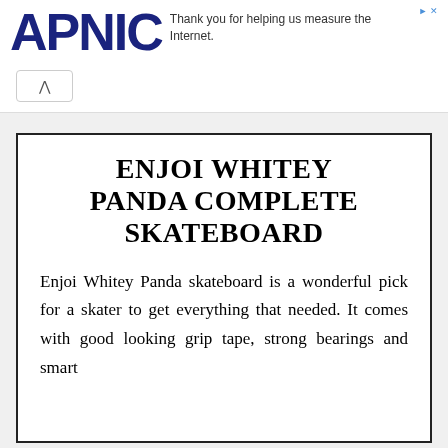APNIC — Thank you for helping us measure the Internet.
ENJOI WHITEY PANDA COMPLETE SKATEBOARD
Enjoi Whitey Panda skateboard is a wonderful pick for a skater to get everything that needed. It comes with good looking grip tape, strong bearings and smart